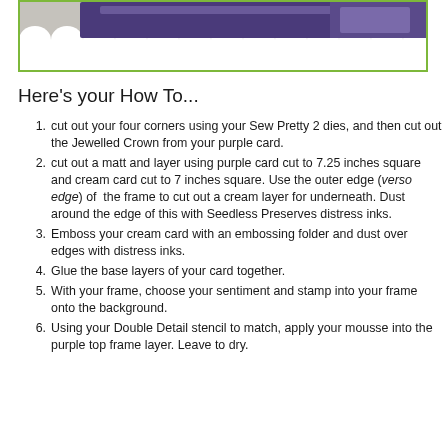[Figure (photo): Top portion of a decorated craft card with scalloped white edges and purple/dark decorative elements visible at the top, framed with a green border.]
Here's your How To...
cut out your four corners using your Sew Pretty 2 dies, and then cut out the Jewelled Crown from your purple card.
cut out a matt and layer using purple card cut to 7.25 inches square and cream card cut to 7 inches square. Use the outer edge (verso edge) of the frame to cut out a cream layer for underneath. Dust around the edge of this with Seedless Preserves distress inks.
Emboss your cream card with an embossing folder and dust over edges with distress inks.
Glue the base layers of your card together.
With your frame, choose your sentiment and stamp into your frame onto the background.
Using your Double Detail stencil to match, apply your mousse into the purple top frame layer. Leave to dry.